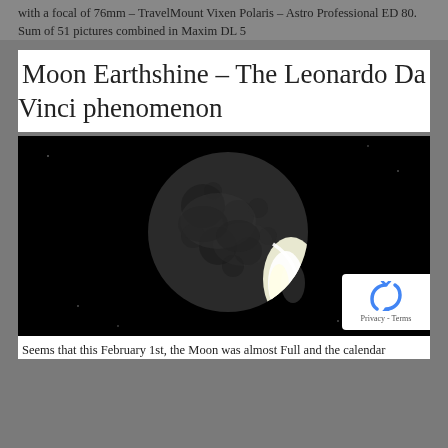with a focal of 76mm – TravelMount Vixen Polaris – Astro Professional ED 80. Sum of 51 pictures combined in Maxim DL 5
Moon Earthshine – The Leonardo Da Vinci phenomenon
[Figure (photo): Black and white photograph of the Moon showing earthshine – the dark side of the Moon faintly lit by reflected earthlight, with a bright crescent on the lower right. The background is solid black.]
Seems that this February 1st, the Moon was almost Full and the calendar